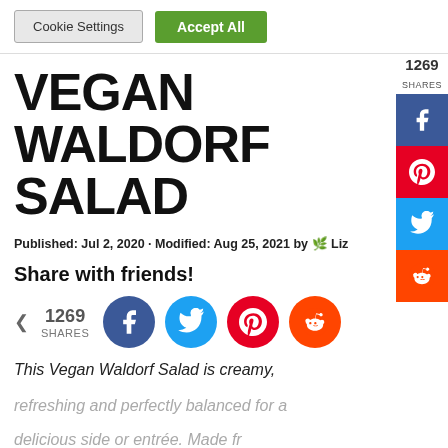Cookie Settings | Accept All
VEGAN WALDORF SALAD
Published: Jul 2, 2020 · Modified: Aug 25, 2021 by 🌿 Liz
Share with friends!
1269 SHARES [Facebook] [Twitter] [Pinterest] [Reddit]
This Vegan Waldorf Salad is creamy, refreshing and perfectly balanced for a delicious side or entrée. Made fr...